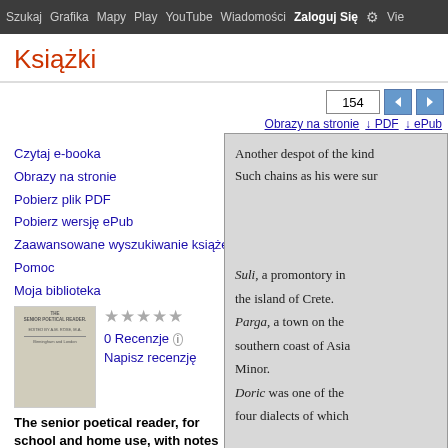Szukaj  Grafika  Mapy  Play  YouTube  Wiadomości  Zaloguj Się  Vie
Książki
154 [navigation buttons]
Obrazy na stronie  ↓ PDF  ↓ ePub
Czytaj e-booka
Obrazy na stronie
Pobierz plik PDF
Pobierz wersję ePub
Zaawansowane wyszukiwanie książek
Pomoc
Moja biblioteka
0 Recenzje
Napisz recenzję
The senior poetical reader, for school and home use, with notes and biogr ...
Another despot of the kind
Such chains as his were sur

Suli, a promontory in the island of Crete.
Parga, a town on the southern coast of Asia Minor.
Doric was one of the four dialects of which